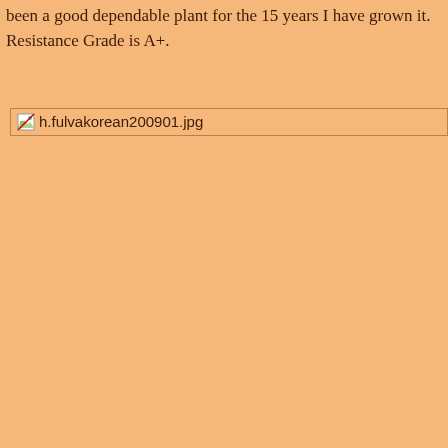been a good dependable plant for the 15 years I have grown it. Resistance Grade is A+.
[Figure (photo): Broken image placeholder showing filename h.fulvakorean200901.jpg]